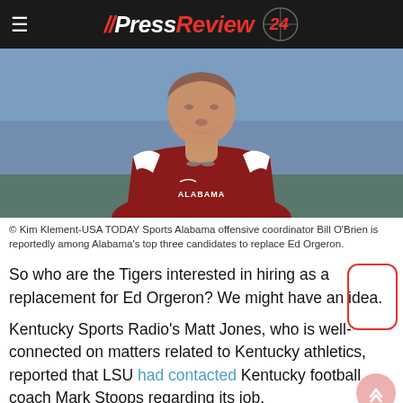//PressReview 24
[Figure (photo): Alabama offensive coordinator Bill O'Brien in Alabama red jersey, photographed on the field]
© Kim Klement-USA TODAY Sports Alabama offensive coordinator Bill O'Brien is reportedly among Alabama's top three candidates to replace Ed Orgeron.
So who are the Tigers interested in hiring as a replacement for Ed Orgeron? We might have an idea.
Kentucky Sports Radio's Matt Jones, who is well-connected on matters related to Kentucky athletics, reported that LSU had contacted Kentucky football coach Mark Stoops regarding its job.